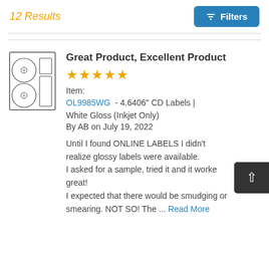12 Results
Great Product, Excellent Product
★★★★★
Item:
OL9985WG  - 4.6406" CD Labels | White Gloss (Inkjet Only)
By AB on July 19, 2022
Until I found ONLINE LABELS I didn't realize glossy labels were available. I asked for a sample, tried it and it worked great! I expected that there would be smudging or smearing. NOT SO! The ... Read More
[Figure (illustration): CD label product illustration showing two CD disc labels on a label sheet]